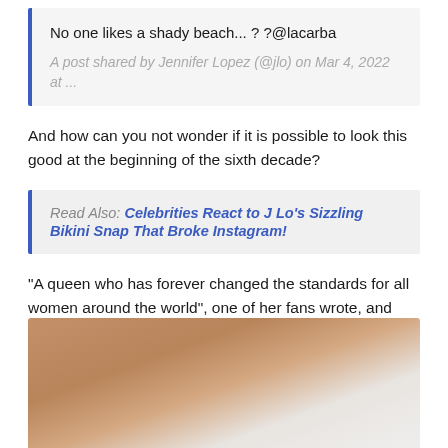No one likes a shady beach... ? ?@lacarba
A post shared by Jennifer Lopez (@jlo) on Mar 4, 2022 at ...
And how can you not wonder if it is possible to look this good at the beginning of the sixth decade?
Read Also: Celebrities React to J Lo's Sizzling Bikini Snap That Broke Instagram!
"A queen who has forever changed the standards for all women around the world", one of her fans wrote, and another added: "Wow. Stunning baby".
[Figure (photo): Partial view of a person with curly blonde/light brown hair against a light background, cropped at bottom of page]